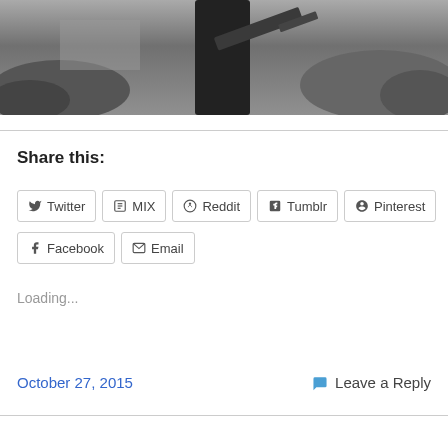[Figure (photo): Black and white photograph of a person holding a chainsaw, outdoors with grass and trees in background]
Share this:
Twitter | MIX | Reddit | Tumblr | Pinterest | Facebook | Email
Loading...
October 27, 2015
Leave a Reply